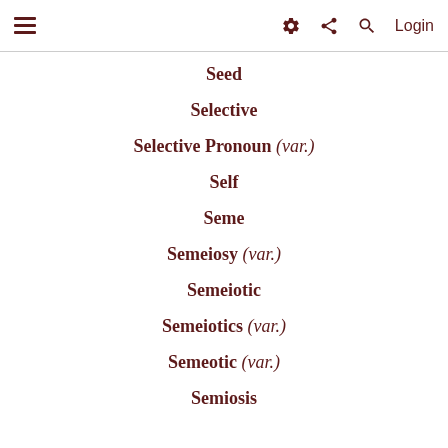≡  ⚙ < Q  Login
Seed
Selective
Selective Pronoun (var.)
Self
Seme
Semeiosy (var.)
Semeiotic
Semeiotics (var.)
Semeotic (var.)
Semiosis